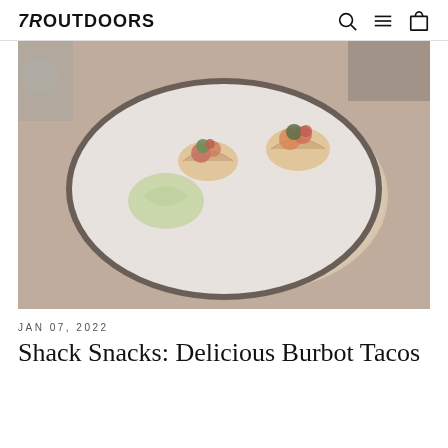7R OUTDOORS
[Figure (photo): A white oval plate on a wooden board with two fish tacos topped with colorful garnishes and a lime wedge on the side, photographed on a wooden table surface. Image appears slightly faded/desaturated.]
JAN 07, 2022
Shack Snacks: Delicious Burbot Tacos